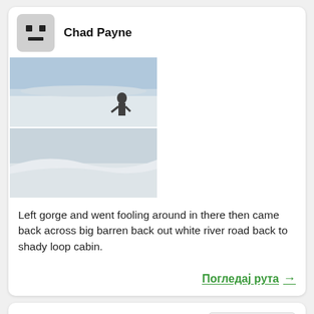Chad Payne
[Figure (photo): Three outdoor winter/snow photos arranged in a collage: a large photo on the left showing rocky terrain with snow, and two smaller photos stacked on the right showing snowy landscape and a person in a snowy field.]
Left gorge and went fooling around in there then came back across big barren back out white river road back to shady loop cabin.
Погледај рута →
Motorne Sanke
Save to a List
Longyearbyen to Barentsburg
близу Haugen, Svalbard (Svalbard and Jan Mayen)